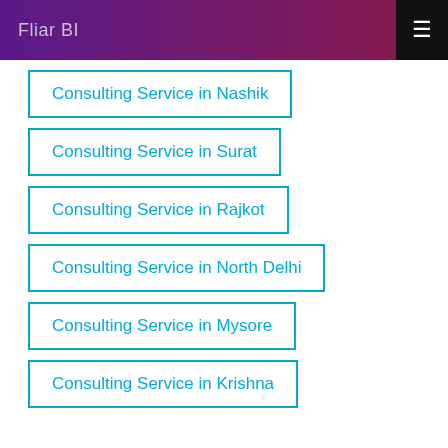Fliar BI
Consulting Service in Nashik
Consulting Service in Surat
Consulting Service in Rajkot
Consulting Service in North Delhi
Consulting Service in Mysore
Consulting Service in Krishna